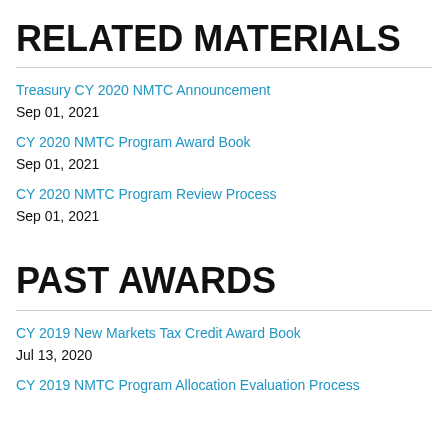RELATED MATERIALS
Treasury CY 2020 NMTC Announcement
Sep 01, 2021
CY 2020 NMTC Program Award Book
Sep 01, 2021
CY 2020 NMTC Program Review Process
Sep 01, 2021
PAST AWARDS
CY 2019 New Markets Tax Credit Award Book
Jul 13, 2020
CY 2019 NMTC Program Allocation Evaluation Process